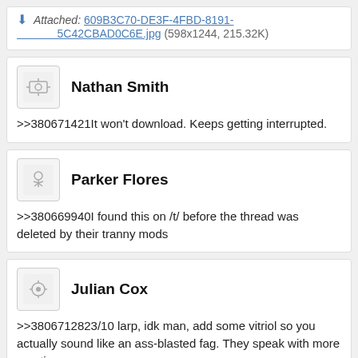Attached: 609B3C70-DE3F-4FBD-8191-5C42CBAD0C6E.jpg (598x1244, 215.32K)
Nathan Smith
>>380671421It won't download. Keeps getting interrupted.
Parker Flores
>>380669940I found this on /t/ before the thread was deleted by their tranny mods
Julian Cox
>>3806712823/10 larp, idk man, add some vitriol so you actually sound like an ass-blasted fag. They speak with more emotion.